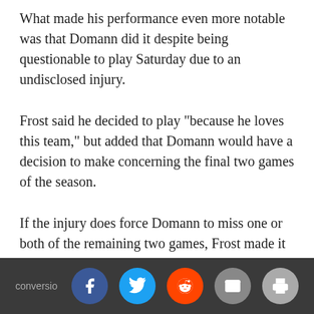What made his performance even more notable was that Domann did it despite being questionable to play Saturday due to an undisclosed injury.
Frost said he decided to play "because he loves this team," but added that Domann would have a decision to make concerning the final two games of the season.
If the injury does force Domann to miss one or both of the remaining two games, Frost made it clear that it would not be a situation where Domann was "opting out" of the season.
6. Third down was the difference
There were plenty of numbers on the final stat sheet that told how Nebraska lost to Ohio State, but few carried as much weight as the third-down conversions